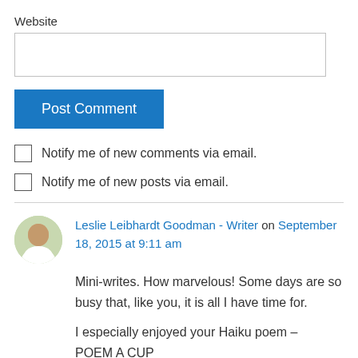Website
[Figure (other): Empty text input field for Website]
[Figure (other): Post Comment button (blue)]
Notify me of new comments via email.
Notify me of new posts via email.
Leslie Leibhardt Goodman - Writer on September 18, 2015 at 9:11 am
Mini-writes. How marvelous! Some days are so busy that, like you, it is all I have time for.
I especially enjoyed your Haiku poem – POEM A CUP